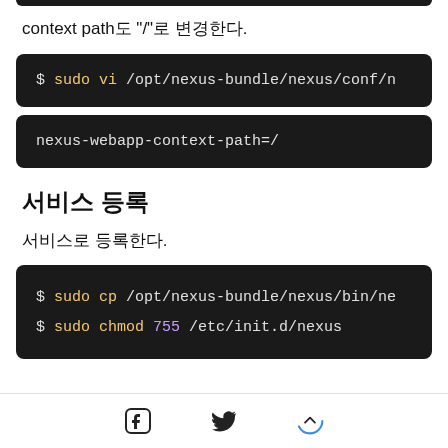[Figure (screenshot): Top dark code bar cut off at top of page]
context path도 "/"로 변경한다.
[Figure (screenshot): Dark code block: $ sudo vi /opt/nexus-bundle/nexus/conf/n]
[Figure (screenshot): Dark code block: nexus-webapp-context-path=/]
서비스 등록
서비스로 등록한다.
[Figure (screenshot): Dark code block with two lines: $ sudo cp /opt/nexus-bundle/nexus/bin/ne and $ sudo chmod 755 /etc/init.d/nexus]